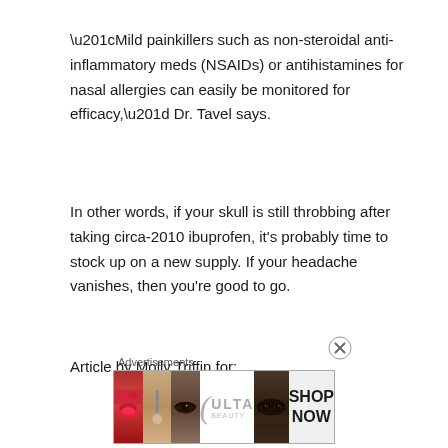“Mild painkillers such as non-steroidal anti-inflammatory meds (NSAIDs) or antihistamines for nasal allergies can easily be monitored for efficacy,” Dr. Tavel says.
In other words, if your skull is still throbbing after taking circa-2010 ibuprofen, it’s probably time to stock up on a new supply. If your headache vanishes, then you’re good to go.
Article by Molly Triffin for:
[Figure (other): Advertisement banner for ULTA beauty products showing lip makeup, brush, eye makeup, ULTA logo, model eyes, and SHOP NOW text]